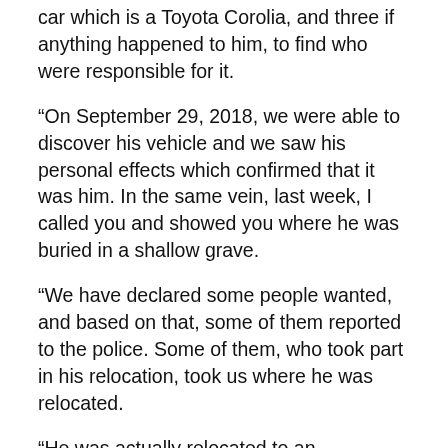car which is a Toyota Corolia, and three if anything happened to him, to find who were responsible for it.
“On September 29, 2018, we were able to discover his vehicle and we saw his personal effects which confirmed that it was him. In the same vein, last week, I called you and showed you where he was buried in a shallow grave.
“We have declared some people wanted, and based on that, some of them reported to the police. Some of them, who took part in his relocation, took us where he was relocated.
“He was actually relocated to an abandoned well which is behind me here. We came here this morning, we drained the water and we were able to salvage the body of General Alkali.
“This is to tell you that now the two aspects of the assignment are completed. The remaining aspect is for all those who took part in this heinous act, nobody, no matter how highly connected the person is, must not go unpublished. For those who have not submitted themselves to the police, we are on